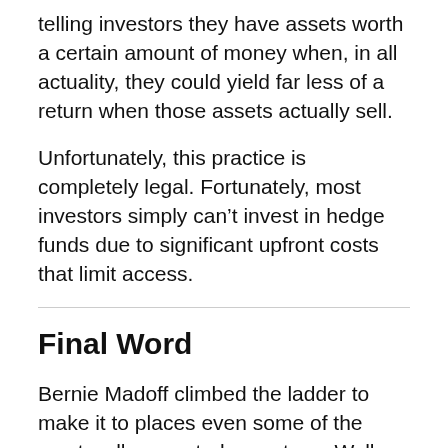telling investors they have assets worth a certain amount of money when, in all actuality, they could yield far less of a return when those assets actually sell.
Unfortunately, this practice is completely legal. Fortunately, most investors simply can't invest in hedge funds due to significant upfront costs that limit access.
Final Word
Bernie Madoff climbed the ladder to make it to places even some of the most well-respected experts on Wall Street could only dream of. Unfortunately, the end of that dream didn't go the